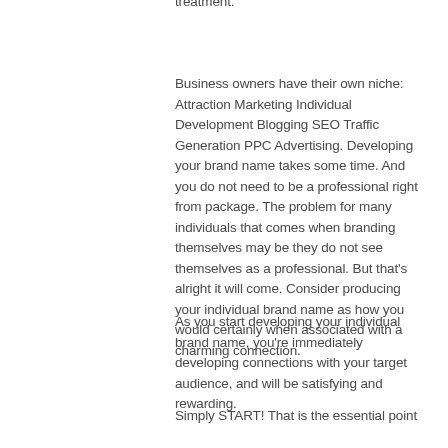treatment.
Business owners have their own niche: Attraction Marketing Individual Development Blogging SEO Traffic Generation PPC Advertising. Developing your brand name takes some time. And you do not need to be a professional right from package. The problem for many individuals that comes when branding themselves may be they do not see themselves as a professional. But that's alright it will come. Consider producing your individual brand name as how you would certainly when associated with a charming connection.
As you start developing your individual brand name, you're immediately developing connections with your target audience, and will be satisfying and rewarding.
Simply START! That is the essential point